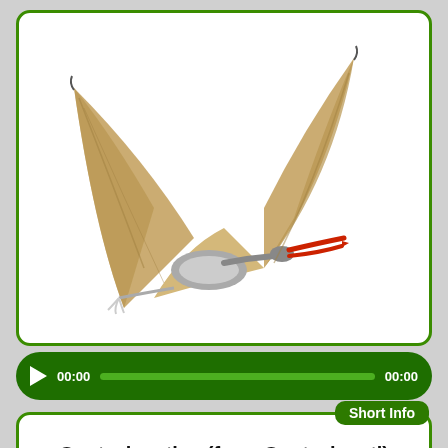[Figure (illustration): 3D illustration of a Quetzalcoatlus pterosaur in flight, with large tan/brown wings spread wide, long red-tipped beak, small clawed forelimbs, and a white/grey body, shown against a white background inside a green-bordered rounded card.]
00:00  00:00
Short Info
Quetzalcoatlus (from Quetzalcoatl)
Phonetic : Kwet-zal-co-at-las.